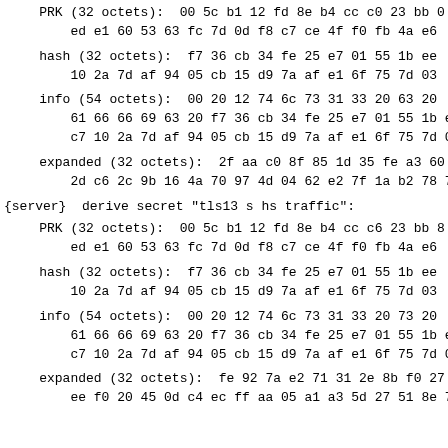PRK (32 octets):  00 5c b1 12 fd 8e b4 cc c0 23 bb 0
    ed e1 60 53 63 fc 7d 0d f8 c7 ce 4f f0 fb 4a e6
hash (32 octets):  f7 36 cb 34 fe 25 e7 01 55 1b ee
    10 2a 7d af 94 05 cb 15 d9 7a af e1 6f 75 7d 03
info (54 octets):  00 20 12 74 6c 73 31 33 20 63 20
    61 66 66 69 63 20 f7 36 cb 34 fe 25 e7 01 55 1b e
    c7 10 2a 7d af 94 05 cb 15 d9 7a af e1 6f 75 7d 0
expanded (32 octets):  2f aa c0 8f 85 1d 35 fe a3 60
    2d c6 2c 9b 16 4a 70 97 4d 04 62 e2 7f 1a b2 78 7
{server}  derive secret "tls13 s hs traffic":
PRK (32 octets):  00 5c b1 12 fd 8e b4 cc c6 23 bb 8
    ed e1 60 53 63 fc 7d 0d f8 c7 ce 4f f0 fb 4a e6
hash (32 octets):  f7 36 cb 34 fe 25 e7 01 55 1b ee
    10 2a 7d af 94 05 cb 15 d9 7a af e1 6f 75 7d 03
info (54 octets):  00 20 12 74 6c 73 31 33 20 73 20
    61 66 66 69 63 20 f7 36 cb 34 fe 25 e7 01 55 1b e
    c7 10 2a 7d af 94 05 cb 15 d9 7a af e1 6f 75 7d 0
expanded (32 octets):  fe 92 7a e2 71 31 2e 8b f0 27
    ee f0 20 45 0d c4 ec ff aa 05 a1 a3 5d 27 51 8e 7